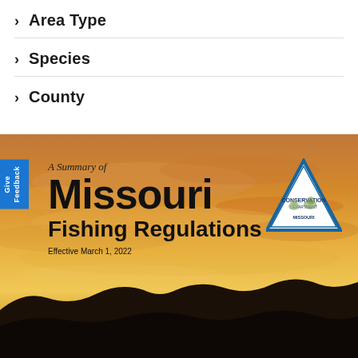> Area Type
> Species
> County
[Figure (illustration): Missouri Fishing Regulations booklet cover showing a sunset sky with orange/yellow clouds, dark silhouetted hills at the bottom, with text 'A Summary of Missouri Fishing Regulations Effective March 1, 2022' and the Missouri Department of Conservation triangle logo. A 'Give Feedback' blue tab appears on the left side.]